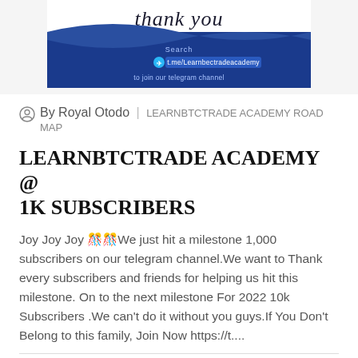[Figure (illustration): Thank you banner with blue background and t.me/Learnbectradeacademy Telegram link]
By Royal Otodo | LEARNBTCTRADE ACADEMY ROAD MAP
LEARNBTCTRADE ACADEMY @ 1K SUBSCRIBERS
Joy Joy Joy 🎉🎉We just hit a milestone 1,000 subscribers on our telegram channel.We want to Thank every subscribers and friends for helping us hit this milestone. On to the next milestone For 2022 10k Subscribers .We can't do it without you guys.If You Don't Belong to this family, Join Now https://t....
18 Dec 2021